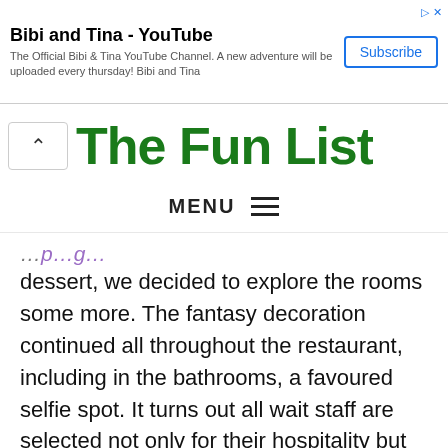[Figure (screenshot): YouTube advertisement banner for Bibi and Tina channel with Subscribe button]
The Fun List (partially visible logo/header with navigation arrow and MENU)
dessert, we decided to explore the rooms some more. The fantasy decoration continued all throughout the restaurant, including in the bathrooms, a favoured selfie spot. It turns out all wait staff are selected not only for their hospitality but also their photography skill. A huge shout out to Riez for turning our average